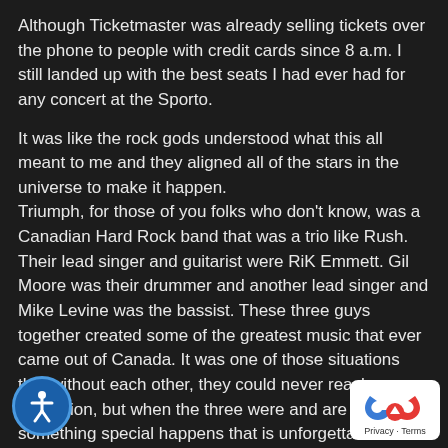Although Ticketmaster was already selling tickets over the phone to people with credit cards since 8 a.m. I still landed up with the best seats I had ever had for any concert at the Sporto.
It was like the rock gods understood what this all meant to me and they aligned all of the stars in the universe to make it happen.
Triumph, for those of you folks who don't know, was a Canadian Hard Rock band that was a trio like Rush. Their lead singer and guitarist were RiK Emmett. Gil Moore was their drummer and another lead singer and Mike Levine was the bassist. These three guys together created some of the greatest music that ever came out of Canada. It was one of those situations that without each other, they could never reach perfection, but when the three were and are together something special happens that is unforgettable.
They align like Orion's Belt in the sky and together make their mark on the universe. They were like a three-legged stool that only stood when all three legs were there. Triumph's musicians were serious rock 'n' rollers and a master class live on stage for the world to see when it came